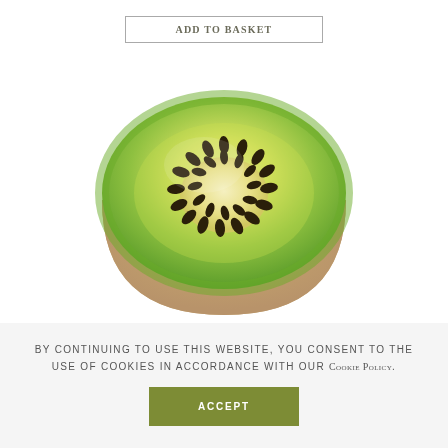Add to basket
[Figure (illustration): A 3D rendered illustration of a half kiwi fruit, showing the green flesh, yellow-green center, and dark seeds arranged in a ring, with a brown outer skin. The fruit is cut horizontally to reveal the cross-section.]
By continuing to use this website, you consent to the use of cookies in accordance with our Cookie Policy.
Accept